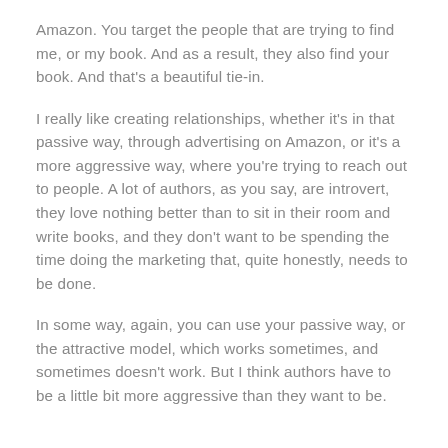Amazon. You target the people that are trying to find me, or my book. And as a result, they also find your book. And that's a beautiful tie-in.
I really like creating relationships, whether it's in that passive way, through advertising on Amazon, or it's a more aggressive way, where you're trying to reach out to people. A lot of authors, as you say, are introvert, they love nothing better than to sit in their room and write books, and they don't want to be spending the time doing the marketing that, quite honestly, needs to be done.
In some way, again, you can use your passive way, or the attractive model, which works sometimes, and sometimes doesn't work. But I think authors have to be a little bit more aggressive than they want to be.